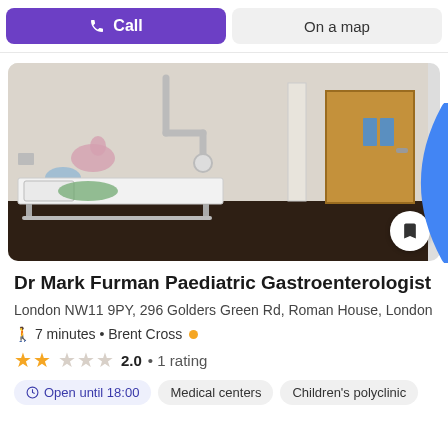Call
On a map
[Figure (photo): Interior of a paediatric medical examination room with a clinical bed, wall-mounted medical equipment arm, horse wall stickers, and a wooden door]
Dr Mark Furman Paediatric Gastroenterologist
London NW11 9PY, 296 Golders Green Rd, Roman House, London
🚶 7 minutes • Brent Cross
2.0 • 1 rating
Open until 18:00  Medical centers  Children's polyclinic